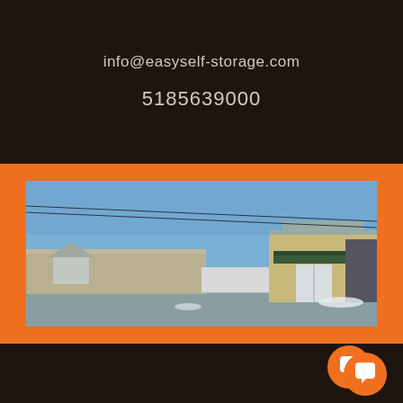info@easyself-storage.com
5185639000
[Figure (photo): Exterior photo of Easy Self-Storage facility showing a tan/beige commercial building with green awning, glass entrance doors, white fence/gate, and a clear blue sky with power lines overhead. Snow visible on the ground near the building.]
[Figure (other): Orange circular chat/message bubble icon in bottom right corner]